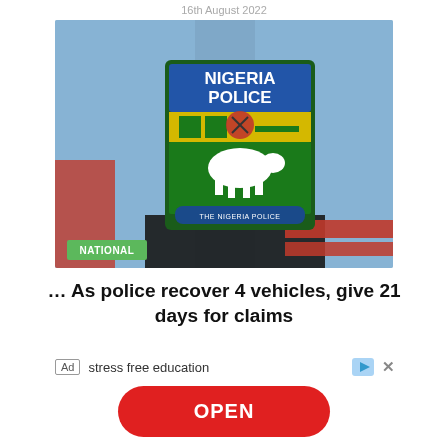16th August 2022
[Figure (photo): Close-up photo of a Nigeria Police uniform badge/patch showing the Nigeria Police logo with eagle, shield, and text 'THE NIGERIA POLICE', with a green label 'NATIONAL' overlaid at the bottom left]
… As police recover 4 vehicles, give 21 days for claims
Ad  stress free education
OPEN